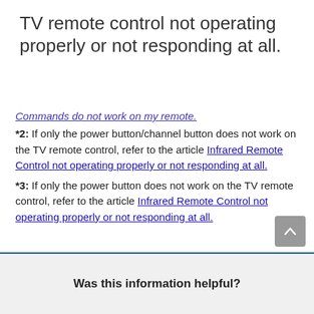TV remote control not operating properly or not responding at all.
Commands do not work on my remote.
*2: If only the power button/channel button does not work on the TV remote control, refer to the article Infrared Remote Control not operating properly or not responding at all.
*3: If only the power button does not work on the TV remote control, refer to the article Infrared Remote Control not operating properly or not responding at all.
Was this information helpful?